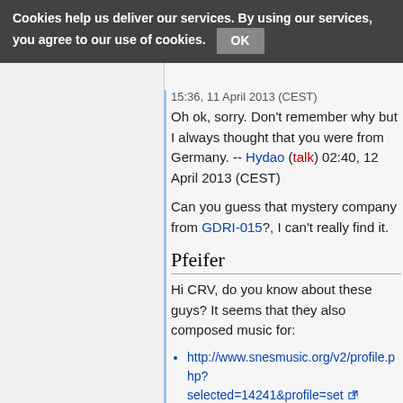Cookies help us deliver our services. By using our services, you agree to our use of cookies. OK
15:36, 11 April 2013 (CEST)
Oh ok, sorry. Don't remember why but I always thought that you were from Germany. -- Hydao (talk) 02:40, 12 April 2013 (CEST)
Can you guess that mystery company from GDRI-015?, I can't really find it.
Pfeifer
Hi CRV, do you know about these guys? It seems that they also composed music for:
http://www.snesmusic.org/v2/profile.php?selected=14241&profile=set
https://en.wikipedia.org/wiki/Pfeifer_Broz
Can't find decent info about their work in the A...